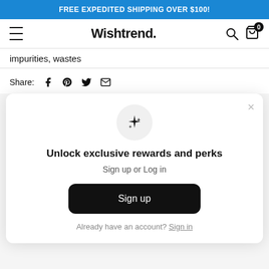FREE EXPEDITED SHIPPING OVER $100!
Wishtrend.
impurities, wastes
Share:
[Figure (screenshot): Modal popup with sparkle icon, title 'Unlock exclusive rewards and perks', subtitle 'Sign up or Log in', a Sign up button, and a Sign in link.]